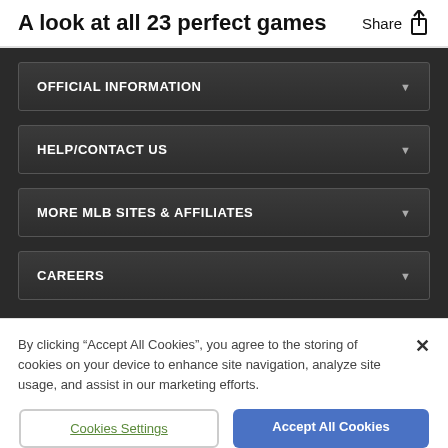A look at all 23 perfect games
OFFICIAL INFORMATION
HELP/CONTACT US
MORE MLB SITES & AFFILIATES
CAREERS
By clicking “Accept All Cookies”, you agree to the storing of cookies on your device to enhance site navigation, analyze site usage, and assist in our marketing efforts.
Cookies Settings
Accept All Cookies